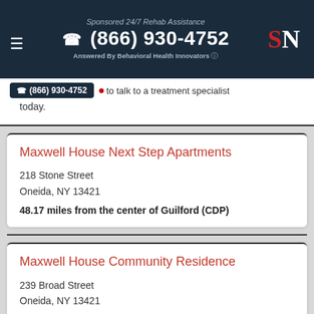Sponsored 24/7 Rehab Assistance | (866) 930-4752 | Answered By Behavioral Health Innovators
(866) 930-4752 to talk to a treatment specialist today.
Maxwell House Next Step Apartments
218 Stone Street
Oneida, NY 13421
48.17 miles from the center of Guilford (CDP)
Maxwell House Community Residence
239 Broad Street
Oneida, NY 13421
48.19 miles from the center of Guilford (CDP)